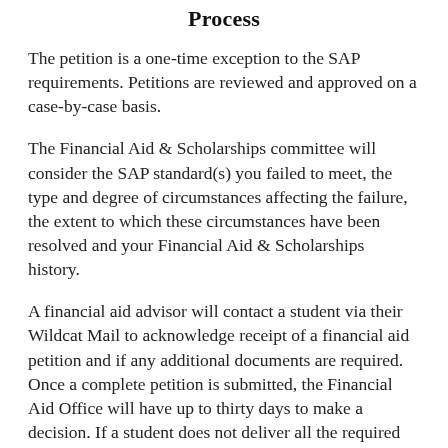Process
The petition is a one-time exception to the SAP requirements. Petitions are reviewed and approved on a case-by-case basis.
The Financial Aid & Scholarships committee will consider the SAP standard(s) you failed to meet, the type and degree of circumstances affecting the failure, the extent to which these circumstances have been resolved and your Financial Aid & Scholarships history.
A financial aid advisor will contact a student via their Wildcat Mail to acknowledge receipt of a financial aid petition and if any additional documents are required. Once a complete petition is submitted, the Financial Aid Office will have up to thirty days to make a decision. If a student does not deliver all the required documents within thirty days, the appeal will go to the